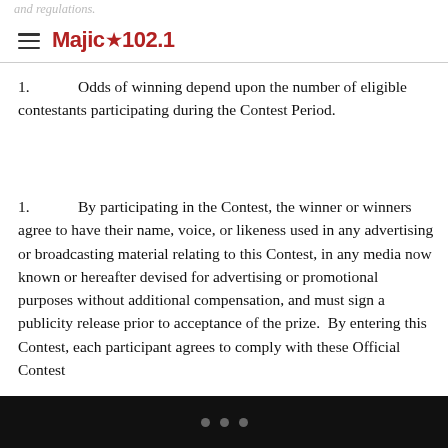and regulations.  Majic★102.1
Odds of winning depend upon the number of eligible contestants participating during the Contest Period.
By participating in the Contest, the winner or winners agree to have their name, voice, or likeness used in any advertising or broadcasting material relating to this Contest, in any media now known or hereafter devised for advertising or promotional purposes without additional compensation, and must sign a publicity release prior to acceptance of the prize.  By entering this Contest, each participant agrees to comply with these Official Contest